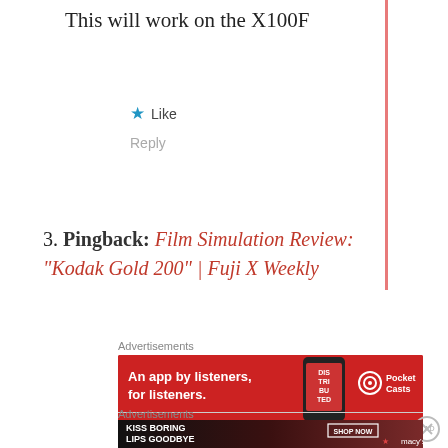This will work on the X100F
★ Like
Reply
3. Pingback: Film Simulation Review: "Kodak Gold 200" | Fuji X Weekly
Advertisements
[Figure (infographic): Pocket Casts advertisement banner: red background with phone graphic, text 'An app by listeners, for listeners.' and Pocket Casts logo]
REPORT THIS AD
Advertisements
[Figure (infographic): Macy's advertisement banner: dark background with woman's lips photo, text 'KISS BORING LIPS GOODBYE', SHOP NOW button, and Macy's star logo]